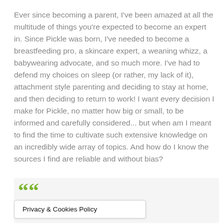Ever since becoming a parent, I've been amazed at all the multitude of things you're expected to become an expert in. Since Pickle was born, I've needed to become a breastfeeding pro, a skincare expert, a weaning whizz, a babywearing advocate, and so much more. I've had to defend my choices on sleep (or rather, my lack of it), attachment style parenting and deciding to stay at home, and then deciding to return to work! I want every decision I make for Pickle, no matter how big or small, to be informed and carefully considered... but when am I meant to find the time to cultivate such extensive knowledge on an incredibly wide array of topics. And how do I know the sources I find are reliable and without bias?
““
Privacy & Cookies Policy